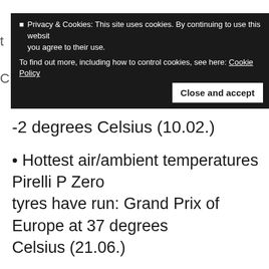Privacy & Cookies: This site uses cookies. By continuing to use this website, you agree to their use. To find out more, including how to control cookies, see here: Cookie Policy
-2 degrees Celsius (10.02.)
• Hottest air/ambient temperatures Pirelli P Zero tyres have run: Grand Prix of Europe at 37 degrees Celsius (21.06.)
• Amount of time spent downloading all tyre data on the RTS system this year (incl. tests): 92 hrs